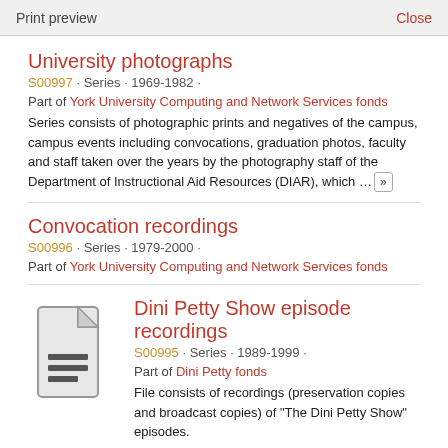Print preview   Close
University photographs
S00997 · Series · 1969-1982 ·
Part of York University Computing and Network Services fonds
Series consists of photographic prints and negatives of the campus, campus events including convocations, graduation photos, faculty and staff taken over the years by the photography staff of the Department of Instructional Aid Resources (DIAR), which ... »
Convocation recordings
S00996 · Series · 1979-2000 ·
Part of York University Computing and Network Services fonds
[Figure (illustration): Document icon with lines representing text]
Dini Petty Show episode recordings
S00995 · Series · 1989-1999 ·
Part of Dini Petty fonds
File consists of recordings (preservation copies and broadcast copies) of "The Dini Petty Show" episodes.
Professional and personal records